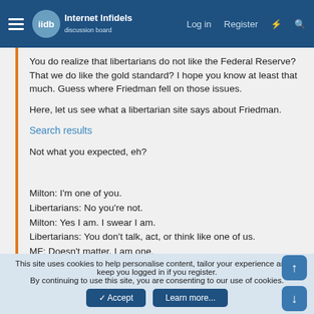Internet Infidels — Log in  Register
You do realize that libertarians do not like the Federal Reserve? That we do like the gold standard? I hope you know at least that much. Guess where Friedman fell on those issues.

Here, let us see what a libertarian site says about Friedman.
Search results
Not what you expected, eh?

Milton: I'm one of you.
Libertarians: No you're not.
Milton: Yes I am. I swear I am.
Libertarians: You don't talk, act, or think like one of us.
MF: Doesn't matter, I am one.
You: See, he is. He says so.
This site uses cookies to help personalise content, tailor your experience and to keep you logged in if you register.
By continuing to use this site, you are consenting to our use of cookies.